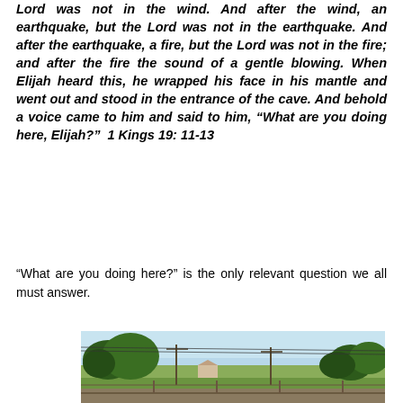Lord was not in the wind. And after the wind, an earthquake, but the Lord was not in the earthquake. And after the earthquake, a fire, but the Lord was not in the fire; and after the fire the sound of a gentle blowing. When Elijah heard this, he wrapped his face in his mantle and went out and stood in the entrance of the cave. And behold a voice came to him and said to him, “What are you doing here, Elijah?”  1 Kings 19:11-13
“What are you doing here?” is the only relevant question we all must answer.
[Figure (photo): Outdoor landscape photograph showing an open field or yard with trees in the background, utility poles with power lines, a small building visible in the distance, and a blue sky. Stone wall or fence in the foreground.]